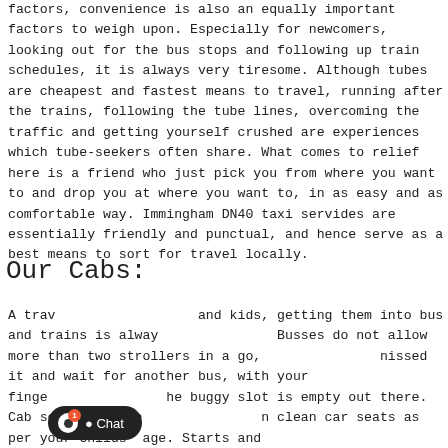factors, convenience is also an equally important factors to weigh upon. Especially for newcomers, looking out for the bus stops and following up train schedules, it is always very tiresome. Although tubes are cheapest and fastest means to travel, running after the trains, following the tube lines, overcoming the traffic and getting yourself crushed are experiences which tube-seekers often share. What comes to relief here is a friend who just pick you from where you want to and drop you at where you want to, in as easy and as comfortable way. Immingham DN40 taxi servides are essentially friendly and punctual, and hence serve as a best means to sort for travel locally.
Our Cabs:
A trav and kids, getting them into bus and trains is alway Busses do not allow more than two strollers in a go, nissed it and wait for another bus, with your finge he buggy slot is empty out there. Cab services howe n clean car seats as per your Childs' age. Starts and s onvenience. No running, no tiring and plan it when you want. Immingham DN40 taxis will take all your stress and out of your travel in Immingham DN40. Our services offer
[Figure (other): Chat popup widget overlaid on text, showing 'Hello there! Good Day! We have Hidden offers on most of our routes, interested to know what lies' with a text input bar showing 'Type' and emoji/attachment icons, and a 'chat now! enter' prompt at the bottom.]